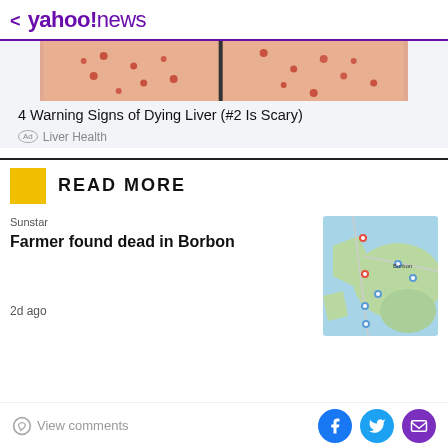< yahoo!news
[Figure (illustration): Cropped advertisement image showing a torso with red spots, for a liver health ad]
4 Warning Signs of Dying Liver (#2 Is Scary)
Ad  Liver Health
READ MORE
Sunstar
Farmer found dead in Borbon
[Figure (map): Google Maps screenshot showing the Borbon area]
2d ago
View comments